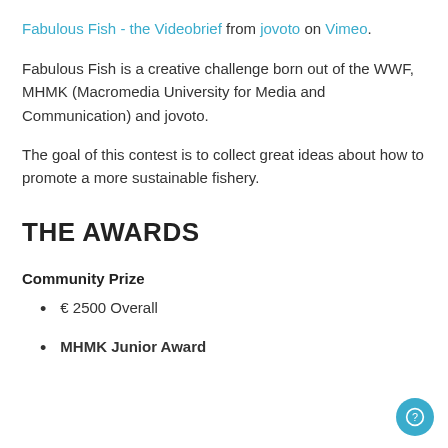Fabulous Fish - the Videobrief from jovoto on Vimeo.
Fabulous Fish is a creative challenge born out of the WWF, MHMK (Macromedia University for Media and Communication) and jovoto.
The goal of this contest is to collect great ideas about how to promote a more sustainable fishery.
THE AWARDS
Community Prize
€ 2500 Overall
MHMK Junior Award